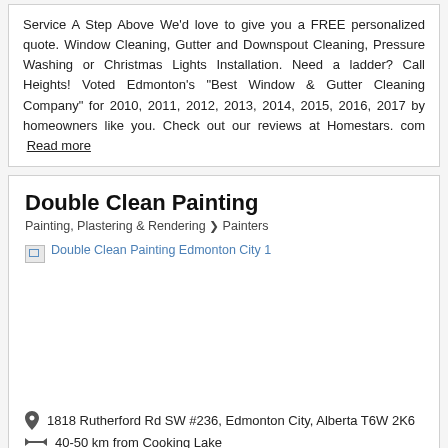Service A Step Above We'd love to give you a FREE personalized quote. Window Cleaning, Gutter and Downspout Cleaning, Pressure Washing or Christmas Lights Installation. Need a ladder? Call Heights! Voted Edmonton's "Best Window & Gutter Cleaning Company" for 2010, 2011, 2012, 2013, 2014, 2015, 2016, 2017 by homeowners like you. Check out our reviews at Homestars. com  Read more
Double Clean Painting
Painting, Plastering & Rendering > Painters
[Figure (photo): Double Clean Painting Edmonton City 1 - broken image placeholder with link text]
1818 Rutherford Rd SW #236, Edmonton City, Alberta T6W 2K6
40-50 km from Cooking Lake